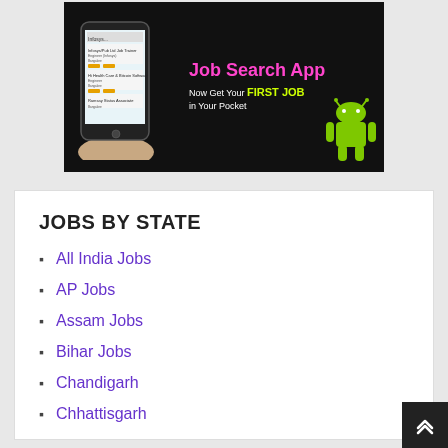[Figure (illustration): Job Search App advertisement banner on black background. Shows a hand holding a smartphone with job listings on screen. Text reads 'Job Search App' in pink, 'Now Get Your FIRST JOB in Your Pocket' in white and yellow-green. Android mascot robot on the right side.]
JOBS BY STATE
All India Jobs
AP Jobs
Assam Jobs
Bihar Jobs
Chandigarh
Chhattisgarh